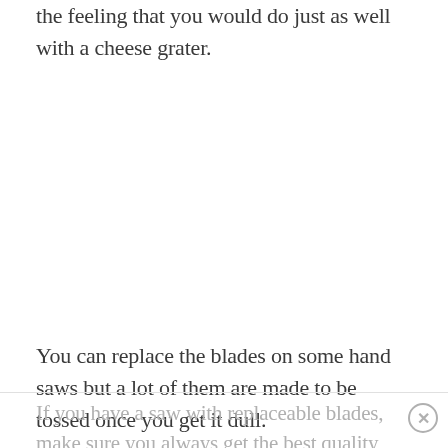the feeling that you would do just as well with a cheese grater.
You can replace the blades on some hand saws but a lot of them are made to be tossed once you get it dull.
If you have a saw with replaceable blades, make sure you always get the best quality replacement possible